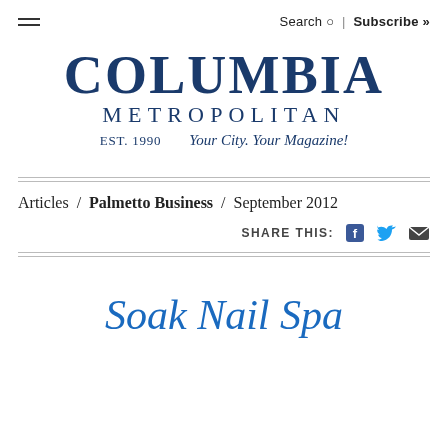Search | Subscribe »
COLUMBIA METROPOLITAN EST. 1990 Your City. Your Magazine!
Articles / Palmetto Business / September 2012
SHARE THIS:
Soak Nail Spa